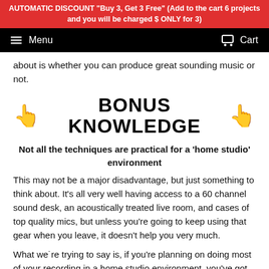AUTOMATIC DISCOUNT "Buy 3, Get 3 Free" (Add to the cart 6 projects and you will be charged $ ONLY for 3)
Menu   Cart
about is whether you can produce great sounding music or not.
BONUS KNOWLEDGE
Not all the techniques are practical for a ‘home studio’ environment
This may not be a major disadvantage, but just something to think about. It's all very well having access to a 60 channel sound desk, an acoustically treated live room, and cases of top quality mics, but unless you're going to keep using that gear when you leave, it doesn't help you very much.
What weʾre trying to say is, if you're planning on doing most of your recording in a home studio environment, you've got to